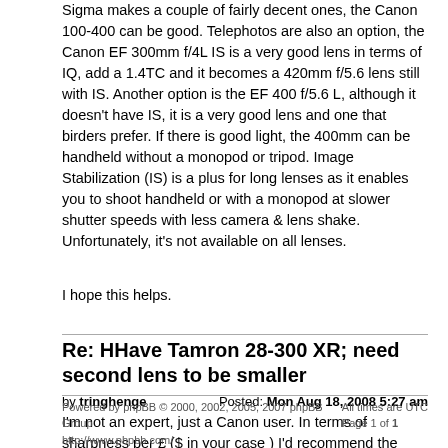Sigma makes a couple of fairly decent ones, the Canon 100-400 can be good. Telephotos are also an option, the Canon EF 300mm f/4L IS is a very good lens in terms of IQ, add a 1.4TC and it becomes a 420mm f/5.6 lens still with IS. Another option is the EF 400 f/5.6 L, although it doesn't have IS, it is a very good lens and one that birders prefer. If there is good light, the 400mm can be handheld without a monopod or tripod. Image Stabilization (IS) is a plus for long lenses as it enables you to shoot handheld or with a monopod at slower shutter speeds with less camera & lens shake. Unfortunately, it's not available on all lenses.
I hope this helps.
Re: HHave Tamron 28-300 XR; need second lens to be smaller
by tringhenge    Posted: Mon Aug 18, 2008 5:27 am
I'm not an expert, just a Canon user. In terms of sharpness per £ ($ in your case ) I'd recommend the Canon 70-200 F4 L if you can live with the shorter range. I recently got one and the sharpness is amazing, even wide open.
Powered by phpBB © 2000, 2002, 2005, 2007 phpBB Group   All times are UTC
http://www.phpbb.com/   Page 1 of 1